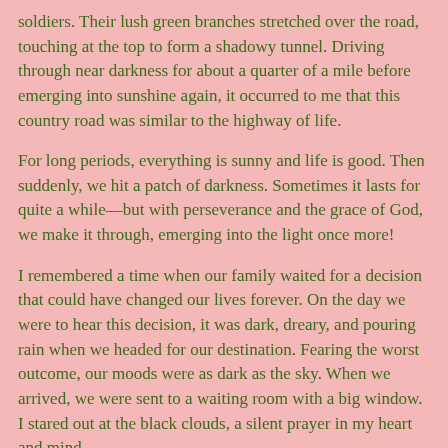soldiers. Their lush green branches stretched over the road, touching at the top to form a shadowy tunnel. Driving through near darkness for about a quarter of a mile before emerging into sunshine again, it occurred to me that this country road was similar to the highway of life.
For long periods, everything is sunny and life is good. Then suddenly, we hit a patch of darkness. Sometimes it lasts for quite a while—but with perseverance and the grace of God, we make it through, emerging into the light once more!
I remembered a time when our family waited for a decision that could have changed our lives forever. On the day we were to hear this decision, it was dark, dreary, and pouring rain when we headed for our destination. Fearing the worst outcome, our moods were as dark as the sky. When we arrived, we were sent to a waiting room with a big window. I stared out at the black clouds, a silent prayer in my heart and mind.
Suddenly, the dark clouds parted and the sun shone brightly between them, nearly blinding us! The fear I had felt was